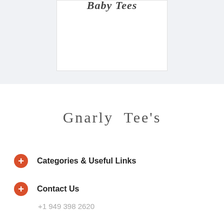[Figure (other): Partial product card with italic bold text partially visible at top, white card on light gray background]
Gnarly Tee's
Categories & Useful Links
Contact Us
+1 949 398 2620
SUBSCRIBE TO OUR NEWSLETTER